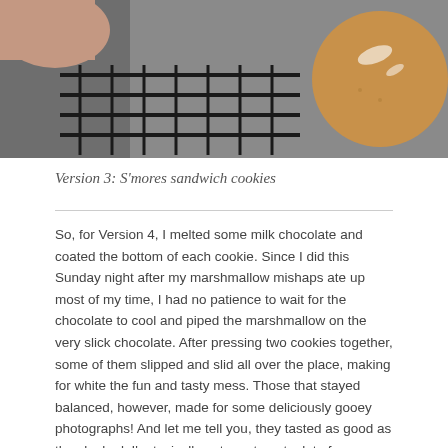[Figure (photo): A photo showing a hand pressing down on a cookie with a grid/cooling rack visible, and a round cookie on the right side with a tan/brown color.]
Version 3: S’mores sandwich cookies
So, for Version 4, I melted some milk chocolate and coated the bottom of each cookie. Since I did this Sunday night after my marshmallow mishaps ate up most of my time, I had no patience to wait for the chocolate to cool and piped the marshmallow on the very slick chocolate. After pressing two cookies together, some of them slipped and slid all over the place, making for white the fun and tasty mess. Those that stayed balanced, however, made for some deliciously gooey photographs! And let me tell you, they tasted as good as they looked. I’m typically not one to eat a lot of sugar right before bed, but I had to enjoy the fruits of my labor while I cleaned up.